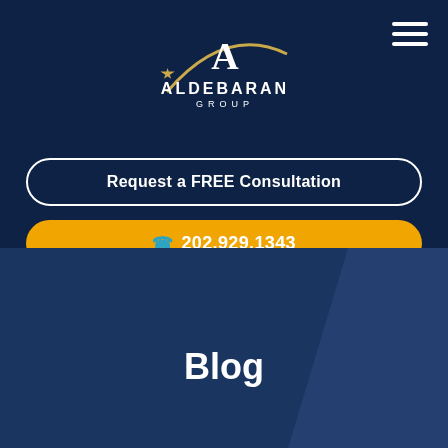[Figure (logo): Aldebaran Group logo with gold star, arc, letter A, and text ALDEBARAN GROUP]
Request a FREE Consultation
202.929.1343
Blog